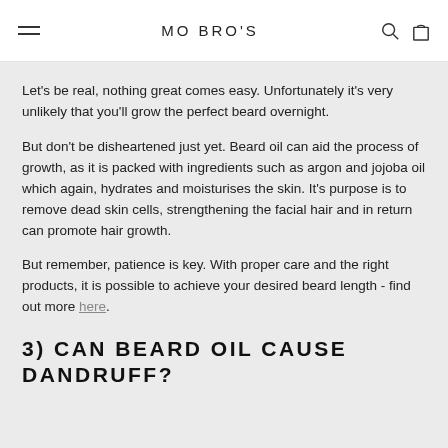MO BRO'S
Let's be real, nothing great comes easy. Unfortunately it's very unlikely that you'll grow the perfect beard overnight.
But don't be disheartened just yet. Beard oil can aid the process of growth, as it is packed with ingredients such as argon and jojoba oil which again, hydrates and moisturises the skin. It's purpose is to remove dead skin cells, strengthening the facial hair and in return can promote hair growth.
But remember, patience is key. With proper care and the right products, it is possible to achieve your desired beard length - find out more here.
3) CAN BEARD OIL CAUSE DANDRUFF?